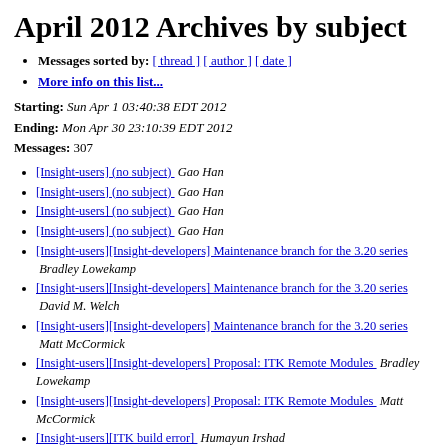April 2012 Archives by subject
Messages sorted by: [ thread ] [ author ] [ date ]
More info on this list...
Starting: Sun Apr 1 03:40:38 EDT 2012
Ending: Mon Apr 30 23:10:39 EDT 2012
Messages: 307
[Insight-users] (no subject)  Gao Han
[Insight-users] (no subject)  Gao Han
[Insight-users] (no subject)  Gao Han
[Insight-users] (no subject)  Gao Han
[Insight-users][Insight-developers] Maintenance branch for the 3.20 series  Bradley Lowekamp
[Insight-users][Insight-developers] Maintenance branch for the 3.20 series  David M. Welch
[Insight-users][Insight-developers] Maintenance branch for the 3.20 series  Matt McCormick
[Insight-users][Insight-developers] Proposal: ITK Remote Modules  Bradley Lowekamp
[Insight-users][Insight-developers] Proposal: ITK Remote Modules  Matt McCormick
[Insight-users][ITK build error]  Humayun Irshad